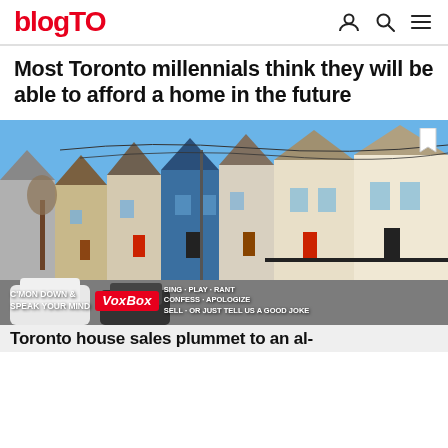blogTO
Most Toronto millennials think they will be able to afford a home in the future
[Figure (photo): Street view of colourful Toronto row houses with cars parked along the street, blue sky backdrop. Overlaid with a VoxBox advertisement banner and a partial headline reading 'Toronto house sales plummet to an al-']
Toronto house sales plummet to an al-